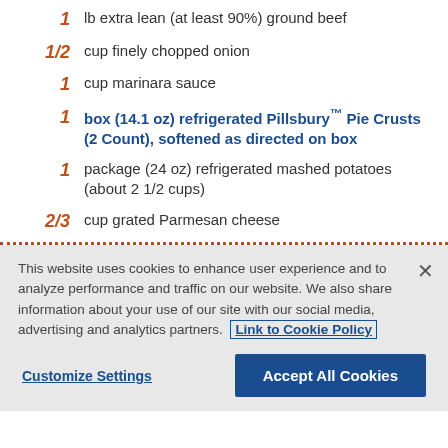1 lb extra lean (at least 90%) ground beef
1/2 cup finely chopped onion
1 cup marinara sauce
1 box (14.1 oz) refrigerated Pillsbury™ Pie Crusts (2 Count), softened as directed on box
1 package (24 oz) refrigerated mashed potatoes (about 2 1/2 cups)
2/3 cup grated Parmesan cheese
This website uses cookies to enhance user experience and to analyze performance and traffic on our website. We also share information about your use of our site with our social media, advertising and analytics partners. Link to Cookie Policy
Customize Settings | Accept All Cookies